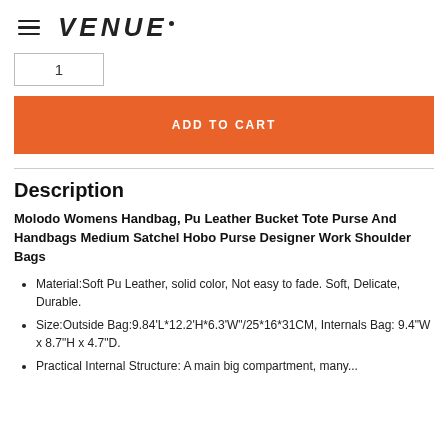VENUE (logo with hamburger menu)
1
ADD TO CART
Description
Molodo Womens Handbag, Pu Leather Bucket Tote Purse And Handbags Medium Satchel Hobo Purse Designer Work Shoulder Bags
Material:Soft Pu Leather, solid color, Not easy to fade. Soft, Delicate, Durable.
Size:Outside Bag:9.84'L*12.2'H*6.3'W"/25*16*31CM, Internals Bag: 9.4"W x 8.7"H x 4.7"D.
Practical Internal Structure: A main big compartment, many...